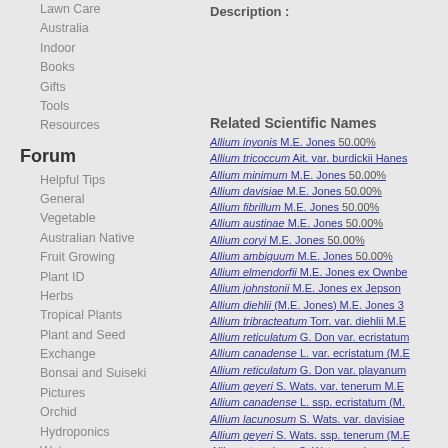Lawn Care
Australia
Indoor
Books
Gifts
Tools
Resources
Forum
Helpful Tips
General
Vegetable
Australian Native
Fruit Growing
Plant ID
Herbs
Tropical Plants
Plant and Seed Exchange
Bonsai and Suiseki
Pictures
Orchid
Hydroponics
Water
News and Updates
Plants
Roses
Plant Propagation
Description :
Related Scientific Names
Allium inyonis M.E. Jones 50.00%
Allium tricoccum Ait. var. burdickii Hanes
Allium minimum M.E. Jones 50.00%
Allium davisiae M.E. Jones 50.00%
Allium fibrillum M.E. Jones 50.00%
Allium austinae M.E. Jones 50.00%
Allium coryi M.E. Jones 50.00%
Allium ambiguum M.E. Jones 50.00%
Allium elmendorfii M.E. Jones ex Ownbe
Allium johnstonii M.E. Jones ex Jepson
Allium diehlii (M.E. Jones) M.E. Jones 3
Allium tribracteatum Torr. var. diehlii M.E
Allium reticulatum G. Don var. ecristatum
Allium canadense L. var. ecristatum (M.E
Allium reticulatum G. Don var. playanum
Allium geyeri S. Wats. var. tenerum M.E
Allium canadense L. ssp. ecristatum (M.
Allium lacunosum S. Wats. var. davisiae
Allium geyeri S. Wats. ssp. tenerum (M.E
Allium atrorubens S. Wats. var. inyoensi
Related English Names
Wild leek 100.00%
wild leek 100.00%